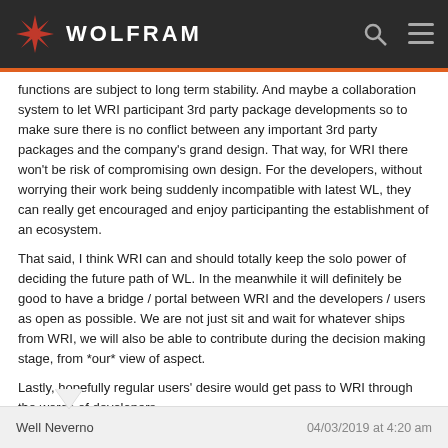WOLFRAM
functions are subject to long term stability. And maybe a collaboration system to let WRI participant 3rd party package developments so to make sure there is no conflict between any important 3rd party packages and the company's grand design. That way, for WRI there won't be risk of compromising own design. For the developers, without worrying their work being suddenly incompatible with latest WL, they can really get encouraged and enjoy participanting the establishment of an ecosystem.
That said, I think WRI can and should totally keep the solo power of deciding the future path of WL. In the meanwhile it will definitely be good to have a bridge / portal between WRI and the developers / users as open as possible. We are not just sit and wait for whatever ships from WRI, we will also be able to contribute during the decision making stage, from *our* view of aspect.
Lastly, hopefully regular users' desire would get pass to WRI through the words of developers.
Talk more with developers. That's my two cents.
Reply
Well Neverno    04/03/2019 at 4:20 am